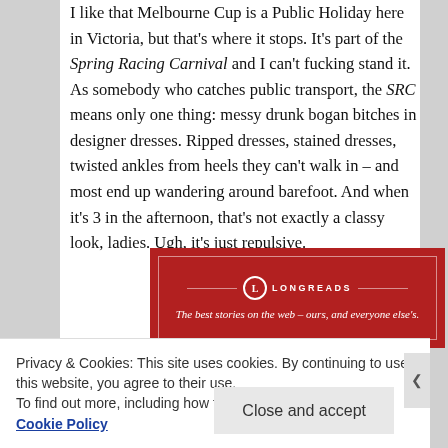I like that Melbourne Cup is a Public Holiday here in Victoria, but that's where it stops. It's part of the Spring Racing Carnival and I can't fucking stand it. As somebody who catches public transport, the SRC means only one thing: messy drunk bogan bitches in designer dresses. Ripped dresses, stained dresses, twisted ankles from heels they can't walk in – and most end up wandering around barefoot. And when it's 3 in the afternoon, that's not exactly a classy look, ladies. Ugh, it's just repulsive.
[Figure (other): Longreads advertisement banner: dark red background with Longreads logo and tagline 'The best stories on the web – ours, and everyone else's.']
Privacy & Cookies: This site uses cookies. By continuing to use this website, you agree to their use.
To find out more, including how to control cookies, see here: Cookie Policy